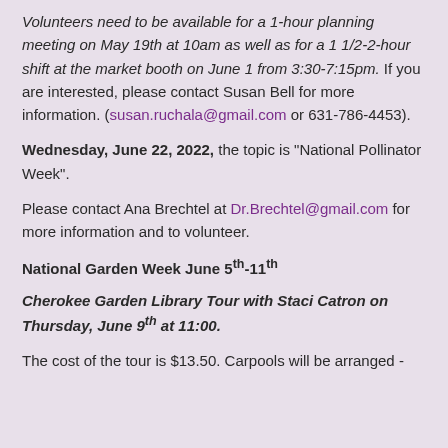Volunteers need to be available for a 1-hour planning meeting on May 19th at 10am as well as for a 1 1/2-2-hour shift at the market booth on June 1 from 3:30-7:15pm. If you are interested, please contact Susan Bell for more information. (susan.ruchala@gmail.com or 631-786-4453).
Wednesday, June 22, 2022, the topic is "National Pollinator Week".
Please contact Ana Brechtel at Dr.Brechtel@gmail.com for more information and to volunteer.
National Garden Week June 5th-11th
Cherokee Garden Library Tour with Staci Catron on Thursday, June 9th at 11:00.
The cost of the tour is $13.50. Carpools will be arranged -